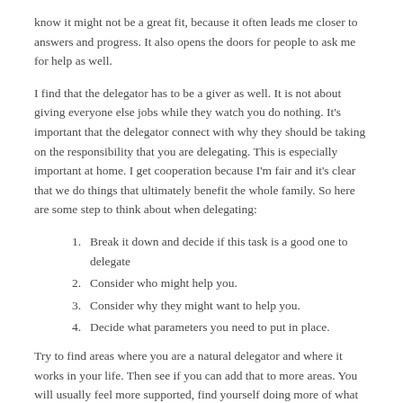know it might not be a great fit, because it often leads me closer to answers and progress.  It also opens the doors for people to ask me for help as well.
I find that the delegator has to be a giver as well.  It is not about giving everyone else jobs while they watch you do nothing.  It’s important that the delegator connect with why they should be taking on the responsibility that you are delegating.  This is especially important at home.  I get cooperation because I’m fair and it’s clear that we do things that ultimately benefit the whole family.  So here are some step to think about when delegating:
Break it down and decide if this task is a good one to delegate
Consider who might help you.
Consider why they might want to help you.
Decide what parameters you need to put in place.
Try to find areas where you are a natural delegator and where it works in your life. Then see if you can add that to more areas.  You will usually feel more supported, find yourself doing more of what you do best and create a life that comes together nicely.